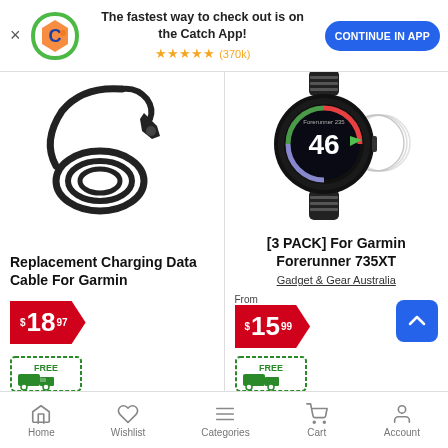[Figure (screenshot): Catch.com.au app promotional banner with logo, star rating (370k reviews), and Continue in App button]
[Figure (photo): Replacement Charging Data Cable for Garmin - black coiled cable with magnetic connector]
Replacement Charging Data Cable For Garmin
$18.97 with FREE delivery badge
[Figure (photo): [3 PACK] For Garmin Forerunner 735XT - smartwatch with screen protectors]
[3 PACK] For Garmin Forerunner 735XT
Gadget & Gear Australia
From $15.99 with FREE delivery badge
Home | Wishlist | Categories | Cart | Account